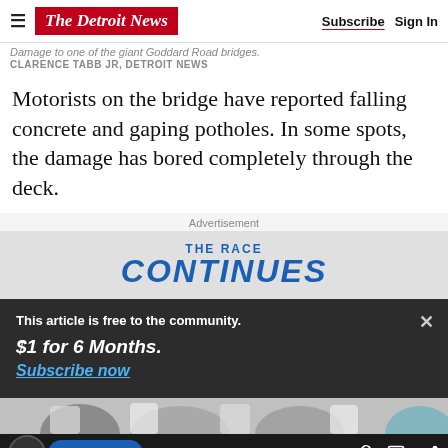The Detroit News — Subscribe | Sign In
Damage to one of the giant Goddard Road bridges.
CLARENCE TABB JR, DETROIT NEWS
Motorists on the bridge have reported falling concrete and gaping potholes. In some spots, the damage has bored completely through the deck.
Advertisement
[Figure (screenshot): Advertisement banner reading THE RACE CONTINUES in blue text on a gray background]
This article is free to the community.
$1 for 6 Months.
Subscribe now
[Figure (photo): Partial image of athletes in white clothing at the bottom of the page]
Subscribe | Sign in